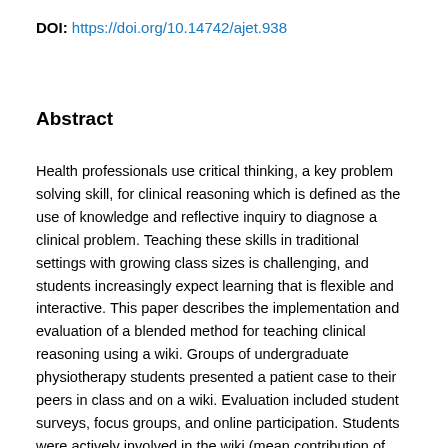DOI: https://doi.org/10.14742/ajet.938
Abstract
Health professionals use critical thinking, a key problem solving skill, for clinical reasoning which is defined as the use of knowledge and reflective inquiry to diagnose a clinical problem. Teaching these skills in traditional settings with growing class sizes is challenging, and students increasingly expect learning that is flexible and interactive. This paper describes the implementation and evaluation of a blended method for teaching clinical reasoning using a wiki. Groups of undergraduate physiotherapy students presented a patient case to their peers in class and on a wiki. Evaluation included student surveys, focus groups, and online participation. Students were actively involved in the wiki (mean contribution of 21.0 web pages (IQR 7.5-34.5). Most students (74%) agreed the in-class sessions were valuable, compared to 48% for the wiki. From the educator's perspective, the wiki facilitated collaboration, ensuring demonstrated reasoning skills in class. Combining wiki with